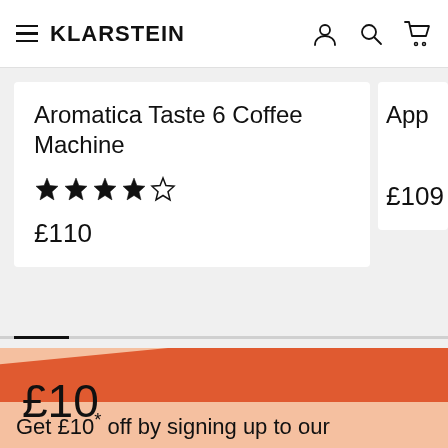KLARSTEIN
Aromatica Taste 6 Coffee Machine
★★★★☆
£110
App
£109
£10
Get £10* off by signing up to our